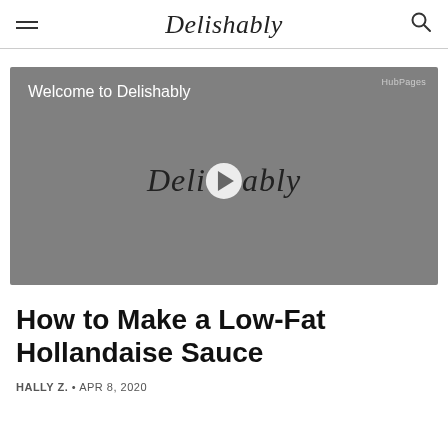Delishably
[Figure (screenshot): Video player showing 'Welcome to Delishably' with Delishably logo and play button overlay on a gray background. HubPages label in top right corner.]
How to Make a Low-Fat Hollandaise Sauce
HALLY Z. • APR 8, 2020